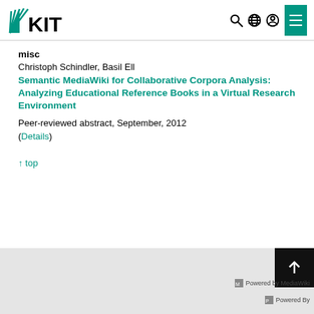[Figure (logo): KIT logo with stylized fan/wedge icon and KIT text]
misc
Christoph Schindler, Basil Ell
Semantic MediaWiki for Collaborative Corpora Analysis: Analyzing Educational Reference Books in a Virtual Research Environment
Peer-reviewed abstract, September, 2012
(Details)
↑ top
Powered by MediaWiki / Powered by